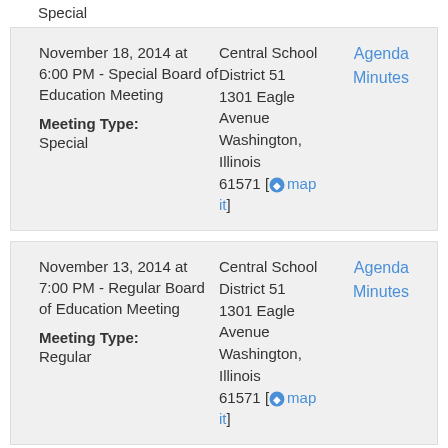Special
| Date/Type | Location | Links |
| --- | --- | --- |
| November 18, 2014 at 6:00 PM - Special Board of Education Meeting
Meeting Type: Special | Central School District 51
1301 Eagle Avenue
Washington, Illinois 61571 [map it] | Agenda
Minutes |
| November 13, 2014 at 7:00 PM - Regular Board of Education Meeting
Meeting Type: Regular | Central School District 51
1301 Eagle Avenue
Washington, Illinois 61571 [map it] | Agenda
Minutes |
| November 10, 2014 at 6:00 PM - Finance ... | Central School District 51 | Agenda
Minutes |